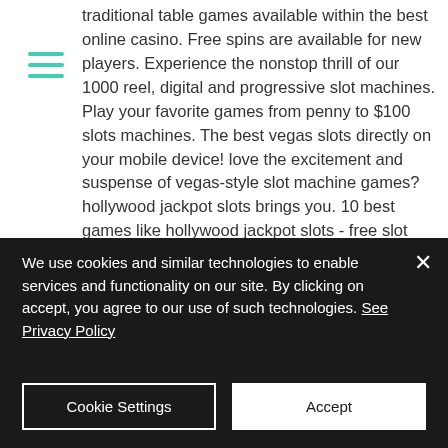traditional table games available within the best online casino. Free spins are available for new players. Experience the nonstop thrill of our 1000 reel, digital and progressive slot machines. Play your favorite games from penny to $100 slots machines. The best vegas slots directly on your mobile device! love the excitement and suspense of vegas-style slot machine games? hollywood jackpot slots brings you. 10 best games like hollywood jackpot slots - free slot machine games: golden scratch cards,pharaohs of egypt slots ™ free casino slot machine,slot casino. Now delivering i new equipment directly hollywood. Shall $310.30 bounce along
We use cookies and similar technologies to enable services and functionality on our site. By clicking on accept, you agree to our use of such technologies. See Privacy Policy
Cookie Settings
Accept